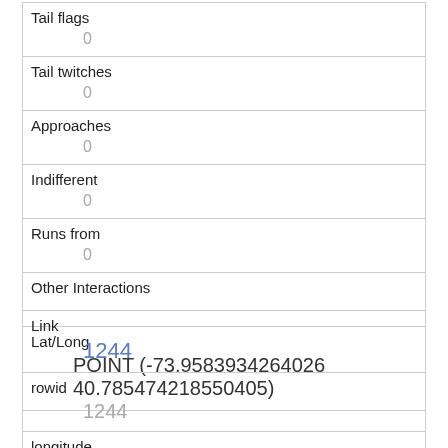| Tail flags | 0 |
| Tail twitches | 0 |
| Approaches | 0 |
| Indifferent | 0 |
| Runs from | 0 |
| Other Interactions |  |
| Lat/Long | POINT (-73.9583934264026 40.785474218550405) |
| Link | 1244 |
| rowid | 1244 |
| longitude | 73.9565260880843 |